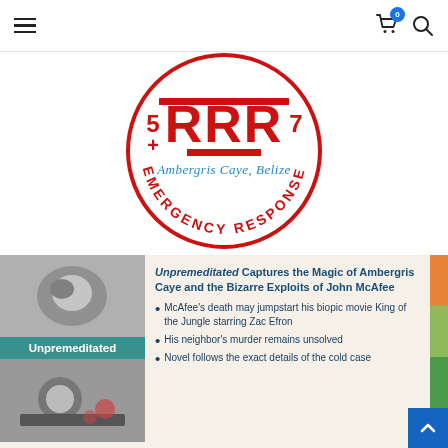Navigation bar with hamburger menu, cart (0 items), and search icon
[Figure (logo): RRR Emergency Response circular logo with red text 'RRR' and '5+7', subtitle 'Ambergris Caye, Belize' in blue script, and red outer ring text 'EMERGENCY RESPONSE']
[Figure (illustration): Book 'Unpremeditated' cover shown in two parts with grayscale imagery and teal title band. Below shows additional book imagery.]
Unpremeditated Captures the Magic of Ambergris Caye and the Bizarre Exploits of John McAfee
McAfee's death may jumpstart his biopic movie King of the Jungle starring Zac Efron
His neighbor's murder remains unsolved
Novel follows the exact details of the cold case